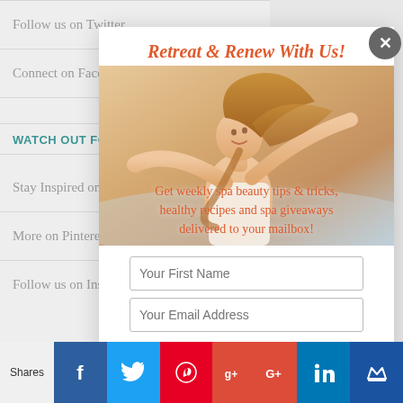Follow us on Twitter
Connect on Facebook
WATCH OUT FO...
Stay Inspired on...
More on Pintere...
Follow us on Inst...
[Figure (screenshot): Modal popup with title 'Retreat & Renew With Us!', image of woman with arms outstretched, subscription text, and two input fields for First Name and Email Address. A close button is in top right corner.]
Shares
[Figure (infographic): Social share bar with icons: Facebook (blue), Twitter (light blue), Pinterest (red), Google+ (red-orange), LinkedIn (blue), crown icon (dark blue)]